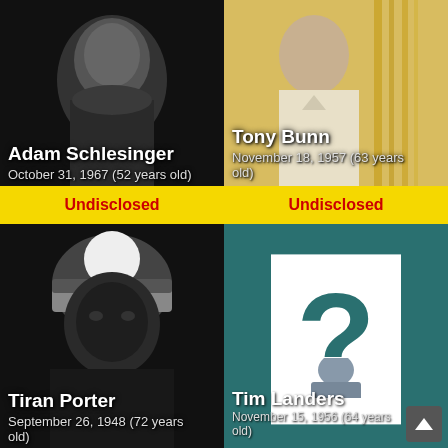[Figure (photo): Person at concert, dark background - Adam Schlesinger card]
Adam Schlesinger
October 31, 1967 (52 years old)
Undisclosed
[Figure (photo): Person in light top with warm orange/yellow background - Tony Bunn card]
Tony Bunn
November 18, 1957 (63 years old)
Undisclosed
[Figure (photo): Black and white photo of person wearing beanie hat - Tiran Porter card]
Tiran Porter
September 26, 1948 (72 years old)
[Figure (illustration): Teal background with white rectangle containing dark teal question mark - Tim Landers card]
Tim Landers
November 15, 1956 (64 years old)